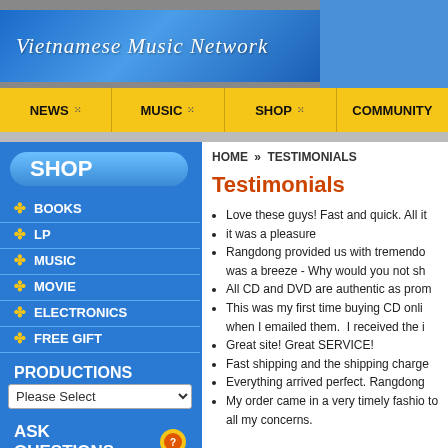Vietnamese Music Network
NEWS | MUSIC | SHOP | COMMUNITY
SHOP
BOOKS
LP
MUSIC
MOVIE
ELECTRONICS
FREE GIFT
PRODUCTIONS
Please Select
ASK QUESTIONS
HOME » TESTIMONIALS
Testimonials
Love these guys! Fast and quick. All it
it was a pleasure
Rangdong provided us with tremendо was a breeze - Why would you not sh
All CD and DVD are authentic as prom
This was my first time buying CD onli when I emailed them.  I received the i
Great site! Great SERVICE!
Fast shipping and the shipping charge
Everything arrived perfect. Rangdong
My order came in a very timely fashio to all my concerns.